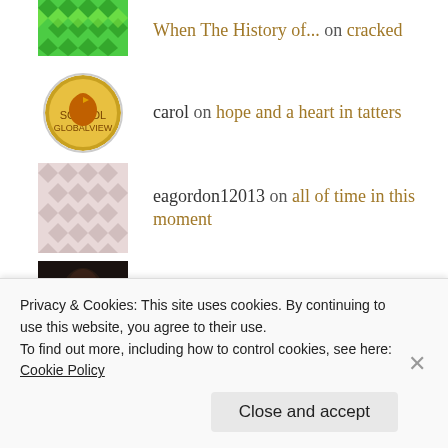When The History of... on cracked
carol on hope and a heart in tatters
eagordon12013 on all of time in this moment
Carol Cassara (@ccas... on cracked
ARCHIVES
Privacy & Cookies: This site uses cookies. By continuing to use this website, you agree to their use.
To find out more, including how to control cookies, see here: Cookie Policy
Close and accept